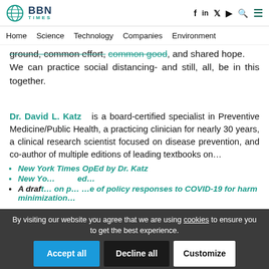BBN TIMES — Home | Science | Technology | Companies | Environment
ground, common effort, common good, and shared hope. We can practice social distancing- and still, all, be in this together.
Dr. David L. Katz is a board-certified specialist in Preventive Medicine/Public Health, a practicing clinician for nearly 30 years, a clinical research scientist focused on disease prevention, and co-author of multiple editions of leading textbooks on…
New York Times OpEd by Dr. Katz
New Y… ed…
A draft… on p… of policy responses to COVID-19 for harm minimization…
By visiting our website you agree that we are using cookies to ensure you to get the best experience.